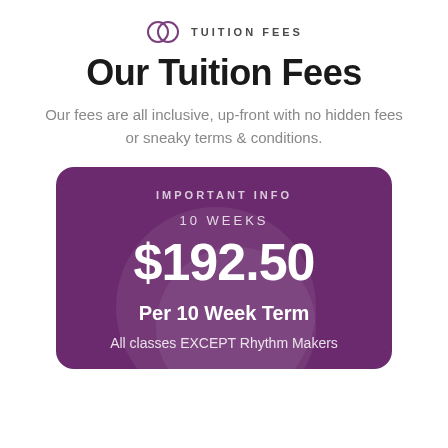TUITION FEES
Our Tuition Fees
Our fees are all inclusive, up-front with no hidden fees or sneaky terms & conditions.
IMPORTANT INFO
10 WEEKS
$192.50
Per 10 Week Term
All classes EXCEPT Rhythm Makers